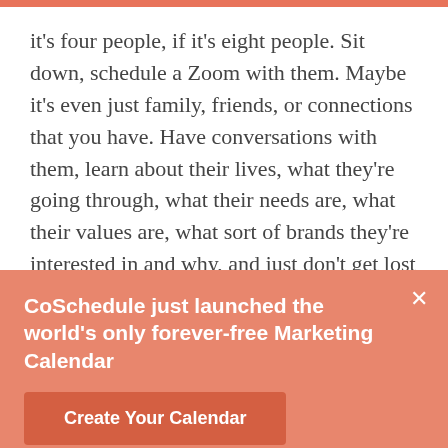it's four people, if it's eight people. Sit down, schedule a Zoom with them. Maybe it's even just family, friends, or connections that you have. Have conversations with them, learn about their lives, what they're going through, what their needs are, what their values are, what sort of brands they're interested in and why, and just don't get lost in your own world of being a marketer.
For a CMO, you almost become this corporate maverick and your job is consumed by internal
CoSchedule just launched the world's only forever-free Marketing Calendar
Create Your Calendar